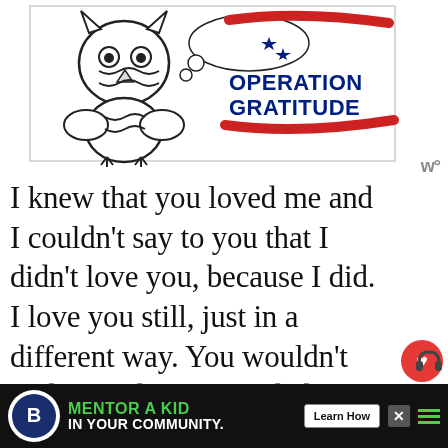[Figure (illustration): Operation Gratitude logo with an owl character on the left and the red-white-blue Operation Gratitude logo text on the right]
I knew that you loved me and I couldn't say to you that I didn't love you, because I did. I love you still, just in a different way. You wouldn't understand. So, I needed to leave without a spoken word. Just a message. Two years later, I realized. I realized what I had done to you. And you were my best friend, my first love. I grew up with you, you trusted
[Figure (screenshot): Mobile UI elements: heart/like button showing 242 likes and a share button on the right side]
[Figure (screenshot): Advertisement banner: Big Brothers Big Sisters logo, text 'MENTOR A KID IN YOUR COMMUNITY.' with a Learn How button]